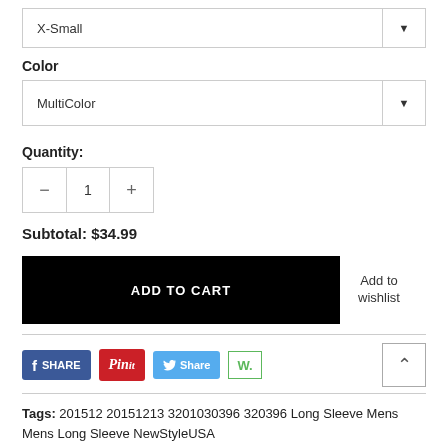X-Small
Color
MultiColor
Quantity:
1
Subtotal: $34.99
ADD TO CART
Add to wishlist
[Figure (screenshot): Social share buttons: Facebook Share, Pinterest Pin it, Twitter Share, W. button]
Tags: 201512 20151213 3201030396 320396 Long Sleeve Mens Mens Long Sleeve NewStyleUSA